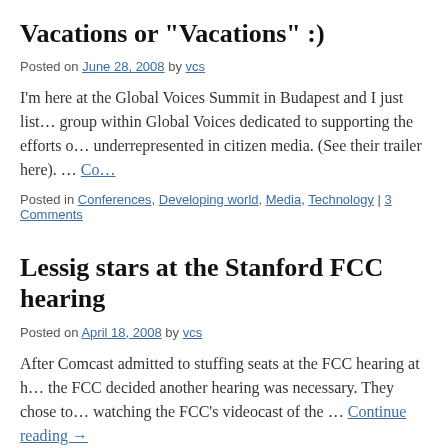Vacations or "Vacations" :)
Posted on June 28, 2008 by vcs
I'm here at the Global Voices Summit in Budapest and I just list… group within Global Voices dedicated to supporting the efforts of… underrepresented in citizen media. (See their trailer here). … Continue reading →
Posted in Conferences, Developing world, Media, Technology | 3 Comments
Lessig stars at the Stanford FCC hearing
Posted on April 18, 2008 by vcs
After Comcast admitted to stuffing seats at the FCC hearing at h… the FCC decided another hearing was necessary. They chose to… watching the FCC's videocast of the … Continue reading →
Posted in Economics, Internet and Democracy, Media, Technology | Leave a